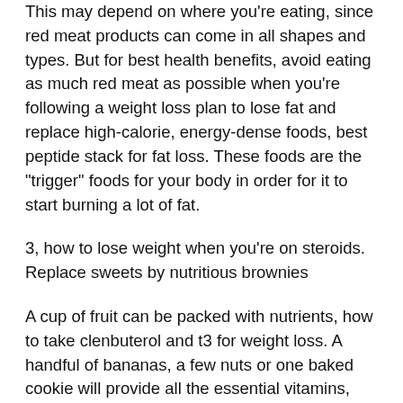This may depend on where you're eating, since red meat products can come in all shapes and types. But for best health benefits, avoid eating as much red meat as possible when you're following a weight loss plan to lose fat and replace high-calorie, energy-dense foods, best peptide stack for fat loss. These foods are the "trigger" foods for your body in order for it to start burning a lot of fat.
3, how to lose weight when you're on steroids. Replace sweets by nutritious brownies
A cup of fruit can be packed with nutrients, how to take clenbuterol and t3 for weight loss. A handful of bananas, a few nuts or one baked cookie will provide all the essential vitamins, minerals, proteins and fats your body needs and is waiting for you to eat. Instead of eating chocolate or sweets, opt for